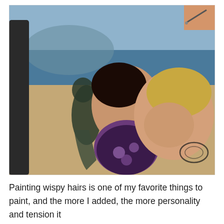[Figure (photo): A close-up photograph of an artist painting a canvas that depicts a woman (or child) and a woman with glasses nose-to-nose in an affectionate moment on a beach, with a dark mermaid-like figure in the background. The artist's hand holding a brush is visible in the upper right corner.]
Painting wispy hairs is one of my favorite things to paint, and the more I added, the more personality and tension it